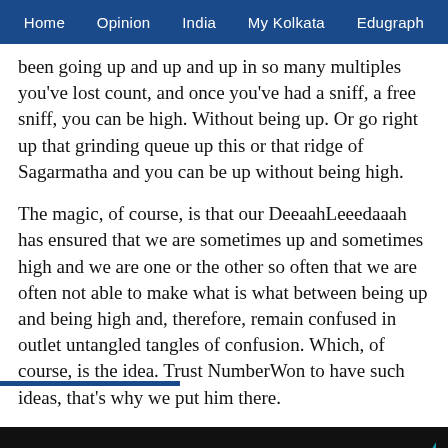Home  Opinion  India  My Kolkata  Edugraph
been going up and up and up in so many multiples you've lost count, and once you've had a sniff, a free sniff, you can be high. Without being up. Or go right up that grinding queue up this or that ridge of Sagarmatha and you can be up without being high.
The magic, of course, is that our DeeaahLeeedaaah has ensured that we are sometimes up and sometimes high and we are one or the other so often that we are often not able to make what is what between being up and being high and, therefore, remain confused in outlet untangled tangles of confusion. Which, of course, is the idea. Trust NumberWon to have such ideas, that's why we put him there.
TT  my  edu  HORSE RACING